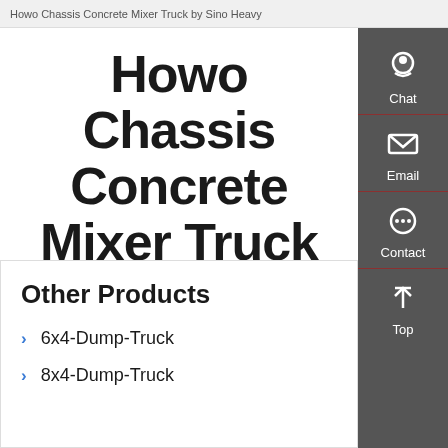Howo Chassis Concrete Mixer Truck by Sino Heavy
Howo Chassis Concrete Mixer Truck By Sino Heavy
Other Products
6x4-Dump-Truck
8x4-Dump-Truck